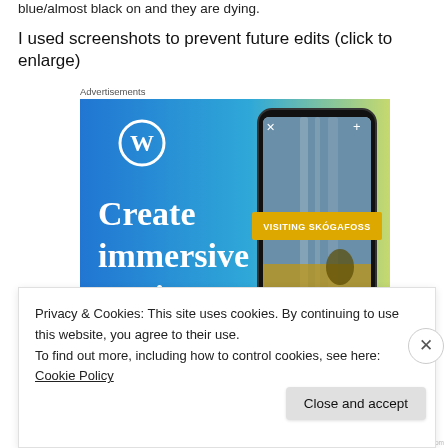blue/almost black on and they are dying.
I used screenshots to prevent future edits (click to enlarge)
Advertisements
[Figure (screenshot): WordPress advertisement showing 'Create immersive stories.' with a phone displaying a waterfall photo labeled 'VISITING SKOGAFOSS', on a blue-to-green gradient background with WordPress logo.]
Privacy & Cookies: This site uses cookies. By continuing to use this website, you agree to their use.
To find out more, including how to control cookies, see here: Cookie Policy
Close and accept